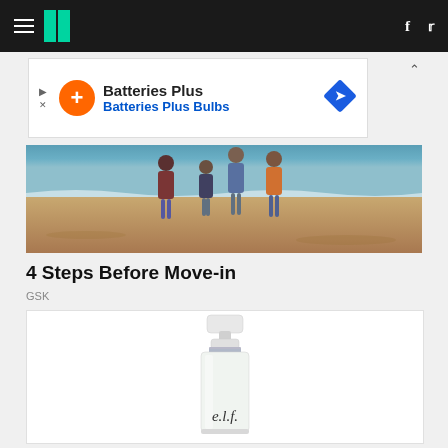HuffPost navigation bar with hamburger menu, logo, Facebook and Twitter icons
[Figure (other): Advertisement banner for Batteries Plus / Batteries Plus Bulbs with orange plus icon and blue diamond direction icon]
[Figure (photo): Family of four (two adults, two children) standing on a sandy beach smiling, ocean waves visible in background]
4 Steps Before Move-in
GSK
[Figure (photo): e.l.f. cosmetics product bottle - white pump dispenser with e.l.f. branding on frosted glass body]